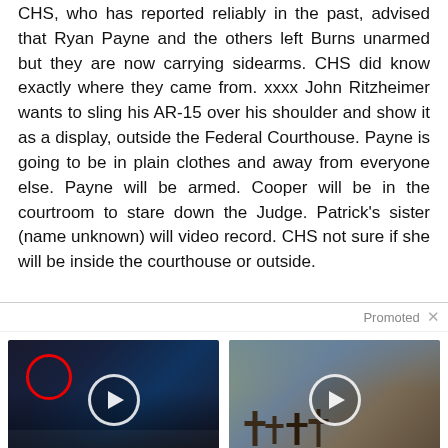CHS, who has reported reliably in the past, advised that Ryan Payne and the others left Burns unarmed but they are now carrying sidearms. CHS did know exactly where they came from. xxxx John Ritzheimer wants to sling his AR-15 over his shoulder and show it as a display, outside the Federal Courthouse. Payne is going to be in plain clothes and away from everyone else. Payne will be armed. Cooper will be in the courtroom to stare down the Judge. Patrick's sister (name unknown) will video record. CHS not sure if she will be inside the courthouse or outside.
[Figure (other): Promoted ad section with two video thumbnails. Left: group of people in formal attire at CIA headquarters with red circle highlighting one person and play button overlay. Right: outdoor scene with wooden crosses and mountains with play button overlay.]
Biden Probably Wants This Video Destroyed — US Dollar On Path Towards Replacement?
653,114
Everyone Who Believes In God Should Watch This. It Will Blow Your Mind
2,863,069